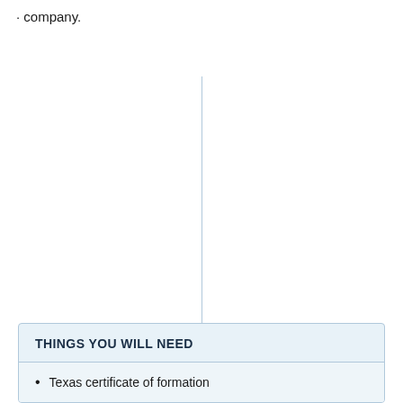company.
THINGS YOU WILL NEED
Texas certificate of formation